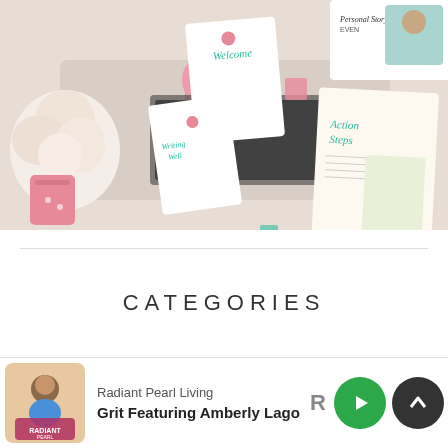[Figure (photo): Flat lay photo of workbook/planner pages including Welcome, Writing Well, Action Steps, and Personal Story pages scattered on a desk with pink roses and a laptop]
CATEGORIES
[Figure (screenshot): Dropdown/select bar (partially visible), likely a category selector]
[Figure (screenshot): Podcast player bar showing Radiant Pearl Living podcast — episode: Grit Featuring Amberly Lago, with play and up-arrow controls]